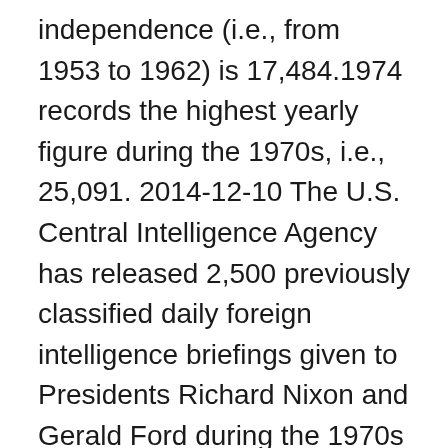independence (i.e., from 1953 to 1962) is 17,484.1974 records the highest yearly figure during the 1970s, i.e., 25,091. 2014-12-10 The U.S. Central Intelligence Agency has released 2,500 previously classified daily foreign intelligence briefings given to Presidents Richard Nixon and Gerald Ford during the 1970s that shed new Jamaica withdrew from the Federation in 1961 and gained full independence in 1962. Deteriorating economic conditions during the 1970s led to recurrent violence as rival gangs affiliated with the major political parties evolved into powerful organized crime networks involved in international drug smuggling and money laundering. 2021-03-14 According to Gary Webb's [not entirely reliable] book, The Dark Alliance, Norman Descoteaux, the CIA station chief in Jamaica began a destabilization